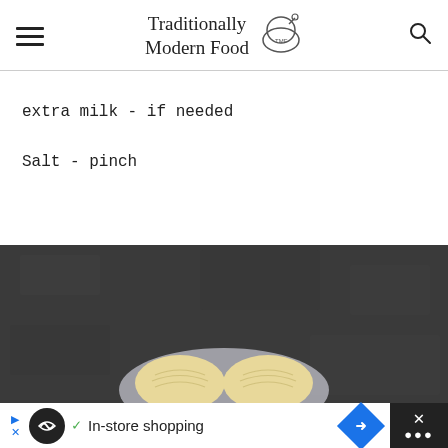Traditionally Modern Food
extra milk - if needed
Salt - pinch
[Figure (photo): Top-down view of pastries or dumplings on a plate, on a dark stone surface]
In-store shopping (advertisement bar)